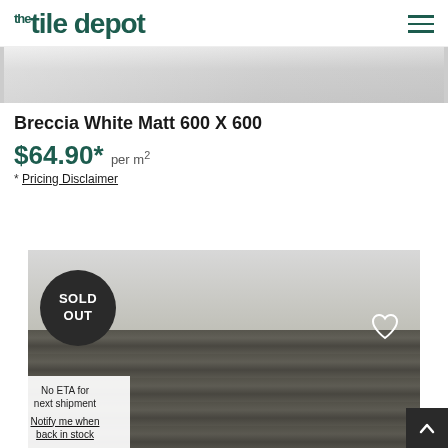the tile depot
[Figure (photo): Top portion of a tile product image showing a white/light grey stone texture tile]
Breccia White Matt 600 X 600
$64.90* per m²
* Pricing Disclaimer
[Figure (photo): Tile product image (darker grey stone texture) with SOLD OUT badge overlay and heart icon, notification box showing No ETA for next shipment and Notify me when back in stock link]